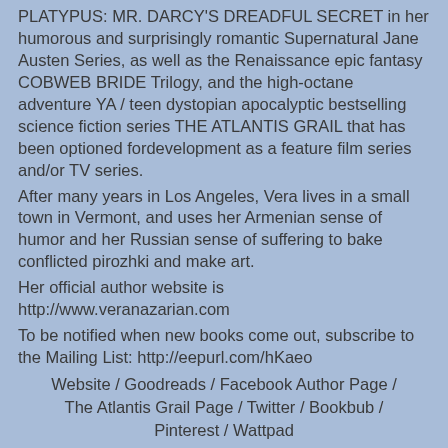PLATYPUS: MR. DARCY'S DREADFUL SECRET in her humorous and surprisingly romantic Supernatural Jane Austen Series, as well as the Renaissance epic fantasy COBWEB BRIDE Trilogy, and the high-octane adventure YA / teen dystopian apocalyptic bestselling science fiction series THE ATLANTIS GRAIL that has been optioned fordevelopment as a feature film series and/or TV series.
After many years in Los Angeles, Vera lives in a small town in Vermont, and uses her Armenian sense of humor and her Russian sense of suffering to bake conflicted pirozhki and make art.
Her official author website is http://www.veranazarian.com
To be notified when new books come out, subscribe to the Mailing List: http://eepurl.com/hKaeo
Website / Goodreads / Facebook Author Page / The Atlantis Grail Page / Twitter / Bookbub / Pinterest / Wattpad